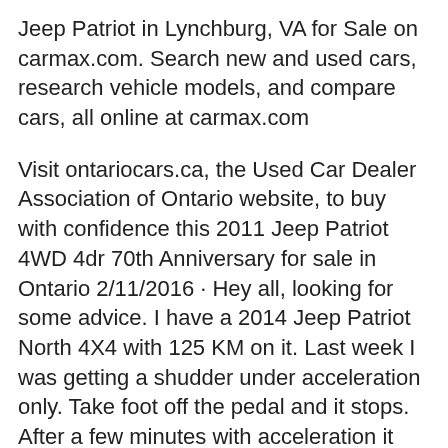Jeep Patriot in Lynchburg, VA for Sale on carmax.com. Search new and used cars, research vehicle models, and compare cars, all online at carmax.com
Visit ontariocars.ca, the Used Car Dealer Association of Ontario website, to buy with confidence this 2011 Jeep Patriot 4WD 4dr 70th Anniversary for sale in Ontario 2/11/2016 · Hey all, looking for some advice. I have a 2014 Jeep Patriot North 4X4 with 125 KM on it. Last week I was getting a shudder under acceleration only. Take foot off the pedal and it stops. After a few minutes with acceleration it tends to stop. This can happen to me going as slow as 30-40...